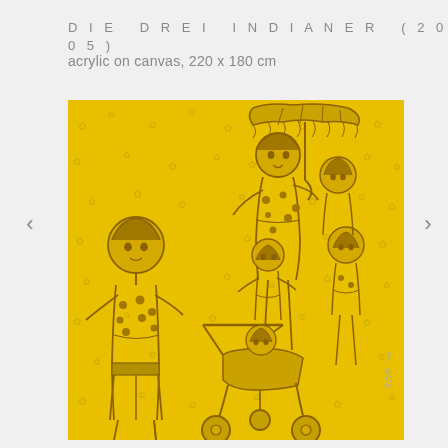DIE DREI INDIANER (2005)
acrylic on canvas, 220 x 180 cm
[Figure (illustration): A painting on yellow background showing children figures in outline style. Three children are depicted: one on the left standing alone, two in the center-right area with an adult figure holding an umbrella. A stroller/pram is visible in the lower center. The entire image is rendered in golden-yellow and dark amber tones, with a decorative floral pattern in the background.]